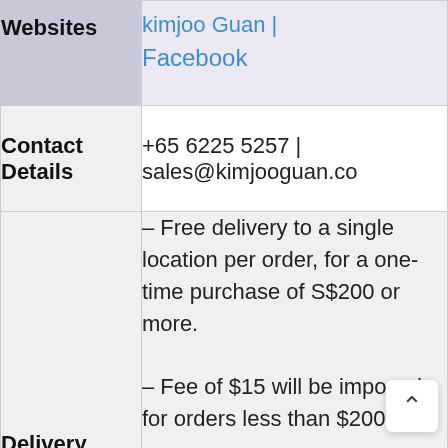| Field | Value |
| --- | --- |
| Websites | kimjoo Guan | Facebook |
| Contact Details | +65 6225 5257 | sales@kimjooguan.co |
| Delivery Details | – Free delivery to a single location per order, for a one-time purchase of S$200 or more.
– Fee of $15 will be imposed for orders less than $200.
– All orders below 20l |